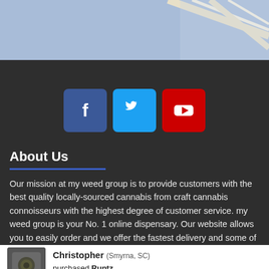[Figure (map): Partial map screenshot showing roads and a blue/grey background area]
[Figure (infographic): Social media icons: Facebook (dark blue), Twitter (light blue), YouTube (red) as rounded square buttons]
About Us
Our mission at my weed group is to provide customers with the best quality locally-sourced cannabis from craft cannabis connoisseurs with the highest degree of customer service. my weed group is your No. 1 online dispensary. Our website allows you to easily order and we offer the fastest delivery and some of the best quality cannabis.
Christopher (Smyrna, SC) purchased Runtz Recently ✓ ProveSource